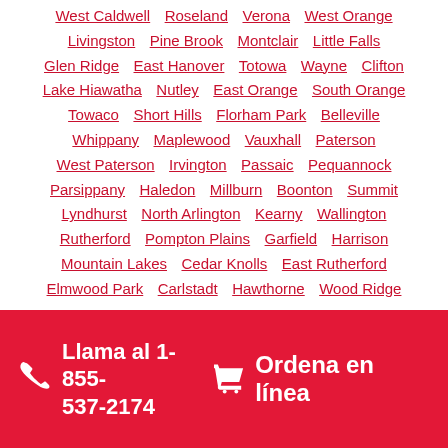West Caldwell  Roseland  Verona  West Orange  Livingston  Pine Brook  Montclair  Little Falls  Glen Ridge  East Hanover  Totowa  Wayne  Clifton  Lake Hiawatha  Nutley  East Orange  South Orange  Towaco  Short Hills  Florham Park  Belleville  Whippany  Maplewood  Vauxhall  Paterson  West Paterson  Irvington  Passaic  Pequannock  Parsippany  Haledon  Millburn  Boonton  Summit  Lyndhurst  North Arlington  Kearny  Wallington  Rutherford  Pompton Plains  Garfield  Harrison  Mountain Lakes  Cedar Knolls  East Rutherford  Elmwood Park  Carlstadt  Hawthorne  Wood Ridge
Llama al 1-855-537-2174   Ordena en línea